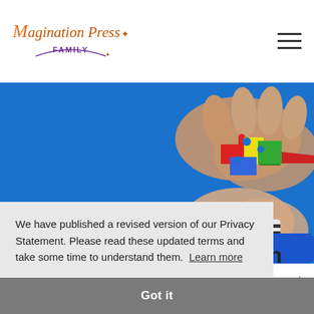Magination Press Family
[Figure (photo): Hands holding colorful puzzle pieces against a blue background, representing autism spectrum disorder awareness.]
We have published a revised version of our Privacy Statement. Please read these updated terms and take some time to understand them. Learn more
Got it
1 in 54 children are diagnosed with autism spectrum disorder,